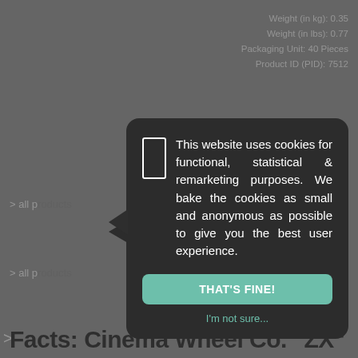Weight (in kg): 0.35
Weight (in lbs): 0.77
Packaging Unit: 40 Pieces
Product ID (PID): 7512
> all p...
> all p...
>...
The Cine... ed black and ava... including nipples.
This website uses cookies for functional, statistical & remarketing purposes. We bake the cookies as small and anonymous as possible to give you the best user experience.
THAT'S FINE!
I'm not sure...
Facts: Cinema Wheel Co. "ZX"